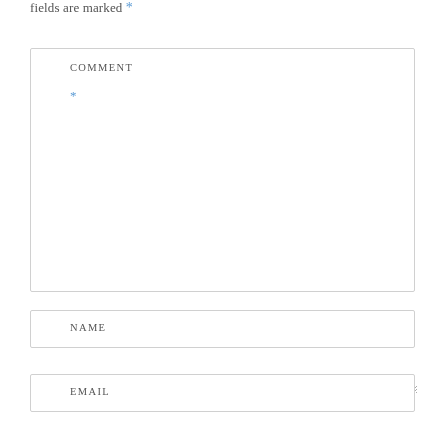fields are marked *
COMMENT *
NAME
EMAIL